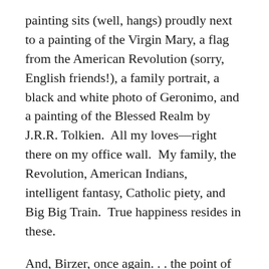painting sits (well, hangs) proudly next to a painting of the Virgin Mary, a flag from the American Revolution (sorry, English friends!), a family portrait, a black and white photo of Geronimo, and a painting of the Blessed Realm by J.R.R. Tolkien.  All my loves—right there on my office wall.  My family, the Revolution, American Indians, intelligent fantasy, Catholic piety, and Big Big Train.  True happiness resides in these.
And, Birzer, once again. . . the point of all of this?
Well, though my personal copy of the newly remixed version of FAR SKIES DEEP TIME has yet to arrive on American soil, a review copy arrived through the magic of the internet cloud.  And, let me just state—what was